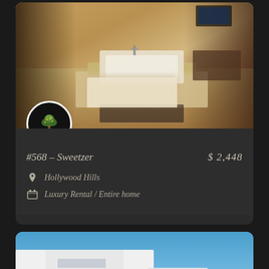[Figure (photo): Interior photo of a luxury bathroom with marble bathtub and lounge area]
#568 – Sweetzer
$ 2,448
Hollywood Hills
Luxury Rental / Entire home
[Figure (photo): Exterior photo of a modern white minimalist house against blue sky]